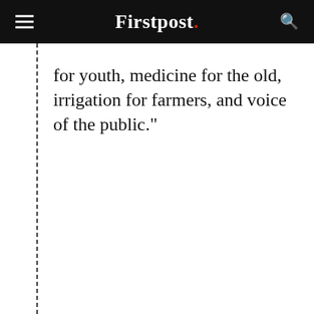Firstpost.
for youth, medicine for the old, irrigation for farmers, and voice of the public."